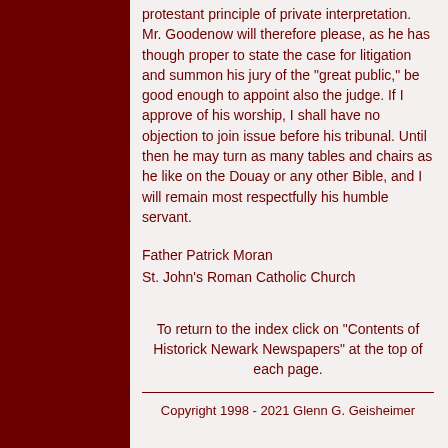protestant principle of private interpretation. Mr. Goodenow will therefore please, as he has though proper to state the case for litigation and summon his jury of the "great public," be good enough to appoint also the judge. If I approve of his worship, I shall have no objection to join issue before his tribunal. Until then he may turn as many tables and chairs as he like on the Douay or any other Bible, and I will remain most respectfully his humble servant.
Father Patrick Moran
St. John's Roman Catholic Church
To return to the index click on "Contents of Historick Newark Newspapers" at the top of each page.
Copyright 1998 - 2021 Glenn G. Geisheimer